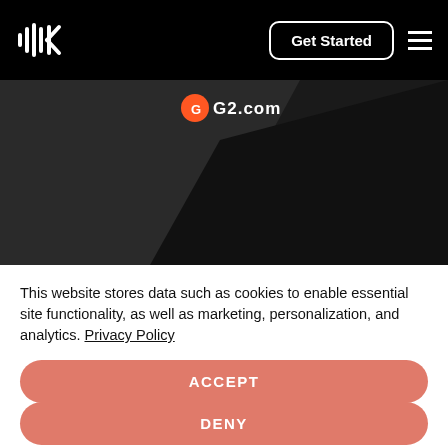Klue navigation bar with logo and Get Started button
[Figure (screenshot): Dark background image area showing G2.com logo text at top, with dark geometric shapes below on a dark textured background]
This website stores data such as cookies to enable essential site functionality, as well as marketing, personalization, and analytics. Privacy Policy
ACCEPT
DENY